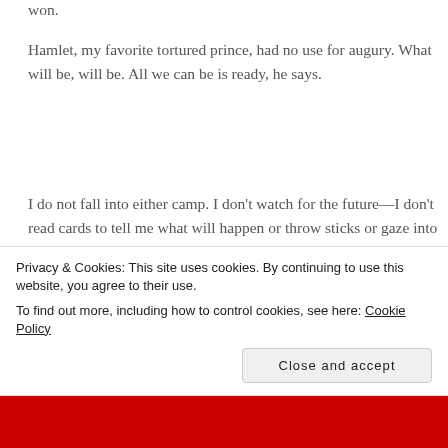won.
Hamlet, my favorite tortured prince, had no use for augury. What will be, will be. All we can be is ready, he says.
I do not fall into either camp. I don't watch for the future—I don't read cards to tell me what will happen or throw sticks or gaze into a crystal ball. I don't believe the future provides us with signs. But I also can't help but worry, regardless of the futility of that particular exercise. I worry all day and then come
Privacy & Cookies: This site uses cookies. By continuing to use this website, you agree to their use.
To find out more, including how to control cookies, see here: Cookie Policy
Close and accept